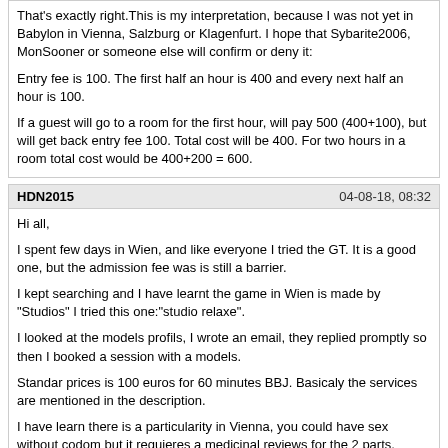That's exactly right.This is my interpretation, because I was not yet in Babylon in Vienna, Salzburg or Klagenfurt. I hope that Sybarite2006, MonSooner or someone else will confirm or deny it:

Entry fee is 100. The first half an hour is 400 and every next half an hour is 100.

If a guest will go to a room for the first hour, will pay 500 (400+100), but will get back entry fee 100. Total cost will be 400. For two hours in a room total cost would be 400+200 = 600.
HDN2015   04-08-18, 08:32
Hi all,

I spent few days in Wien, and like everyone I tried the GT. It is a good one, but the admission fee was is still a barrier.

I kept searching and I have learnt the game in Wien is made by "Studios" I tried this one:"studio relaxe".

I looked at the models profils, I wrote an email, they replied promptly so then I booked a session with a models.

Standar prices is 100 euros for 60 minutes BBJ. Basicaly the services are mentioned in the description.

I have learn there is a particularity in Vienna, you could have sex without codom but it requieres a medicinal reviews for the 2 parts.
Massimo Potente   04-08-18, 10:01
This is my interpretation, because I was not yet in Babylon in Vienna, Salzburg or Klagenfurt. I hope that Sybarite2006, MonSooner or someone else will confirm or deny it.